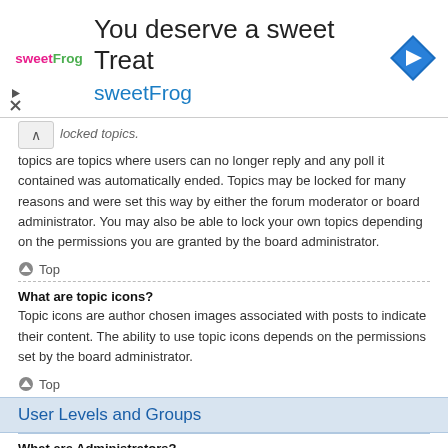[Figure (infographic): Advertisement banner for sweetFrog frozen yogurt. Logo on left, headline 'You deserve a sweet Treat', brand name 'sweetFrog' in blue, navigation icon diamond shape on right. Play and close controls bottom left.]
locked topics are topics where users can no longer reply and any poll it contained was automatically ended. Topics may be locked for many reasons and were set this way by either the forum moderator or board administrator. You may also be able to lock your own topics depending on the permissions you are granted by the board administrator.
Top
What are topic icons?
Topic icons are author chosen images associated with posts to indicate their content. The ability to use topic icons depends on the permissions set by the board administrator.
Top
User Levels and Groups
What are Administrators?
Administrators are members assigned with the highest level of control over the entire board. These members can control all facets of board operation, including